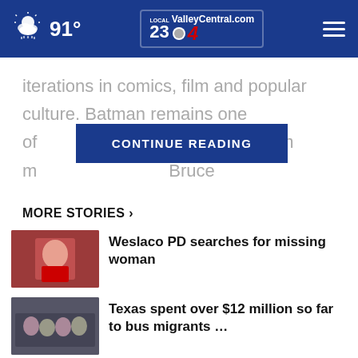91° ValleyCentral.com Local 23/4
iterations in comics, film and popular culture. Batman remains one of the most iconic superheroes in history, with m... Bruce
CONTINUE READING
MORE STORIES ›
Weslaco PD searches for missing woman
Texas spent over $12 million so far to bus migrants …
Brownsville animal charity, Texas Roadhouse to host …